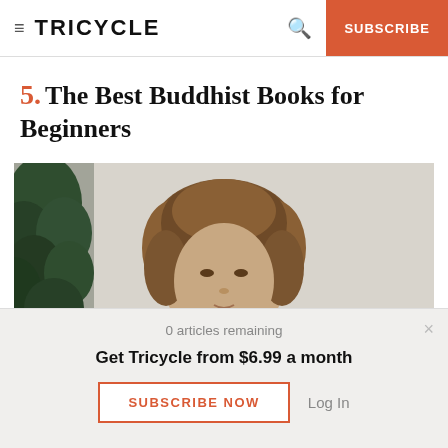TRICYCLE | SUBSCRIBE
5. The Best Buddhist Books for Beginners
[Figure (photo): Portrait photo of a woman with curly hair in front of a light background, with a leafy green plant visible on the left side.]
0 articles remaining
Get Tricycle from $6.99 a month
SUBSCRIBE NOW
Log In